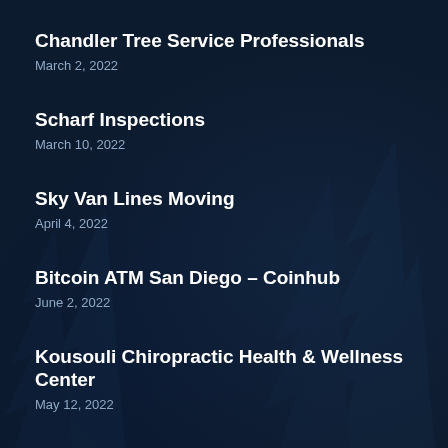Chandler Tree Service Professionals
March 2, 2022
Scharf Inspections
March 10, 2022
Sky Van Lines Moving
April 4, 2022
Bitcoin ATM San Diego – Coinhub
June 2, 2022
Kousouli Chiropractic Health & Wellness Center
May 12, 2022